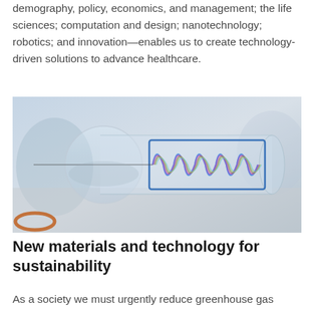demography, policy, economics, and management; the life sciences; computation and design; nanotechnology; robotics; and innovation—enables us to create technology-driven solutions to advance healthcare.
[Figure (photo): Close-up photograph of a glass tube or flask containing a colorful coiled spring structure with iridescent rainbow-colored coils and blue rectangular framing elements, set against a blurred laboratory background.]
New materials and technology for sustainability
As a society we must urgently reduce greenhouse gas